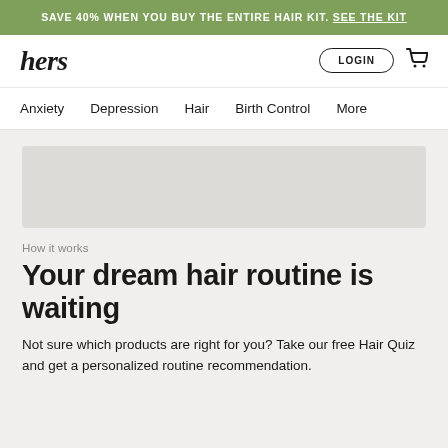SAVE 40% WHEN YOU BUY THE ENTIRE HAIR KIT. SEE THE KIT
[Figure (logo): hers brand logo in bold italic serif font]
LOGIN (button) and cart icon
Anxiety   Depression   Hair   Birth Control   More
[Figure (photo): Gray placeholder image area representing a hair product photo]
How it works
Your dream hair routine is waiting
Not sure which products are right for you? Take our free Hair Quiz and get a personalized routine recommendation.